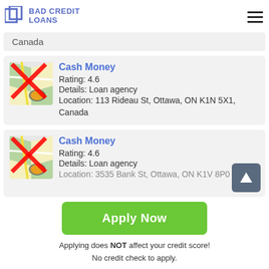BAD CREDIT LOANS
Canada
Cash Money
Rating: 4.6
Details: Loan agency
Location: 113 Rideau St, Ottawa, ON K1N 5X1, Canada
Cash Money
Rating: 4.6
Details: Loan agency
Location: 3535 Bank St, Ottawa, ON K1V 8P0
Apply Now
Applying does NOT affect your credit score!
No credit check to apply.